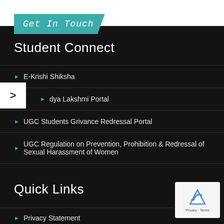Get In Touch
Student Connect
E-Krishi Shiksha
Vidya Lakshmi Portal
UGC Students Grivance Redressal Portal
UGC Regulation on Prevention, Prohibition & Redressal of Sexual Harassment of Women
Quick Links
Privacy Statement
[Figure (logo): reCAPTCHA logo with Privacy - Terms text]